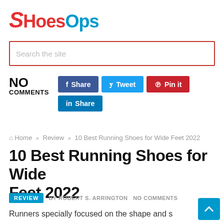[Figure (logo): ShoesOps logo with red S italic letter and red/blue text]
Search the site
NO COMMENTS
Share  Tweet  Pin it  Share (social buttons)
Home » Review » 10 Best Running Shoes for Wide Feet 2022
10 Best Running Shoes for Wide Feet 2022
REVIEW  BY ROBERT S. ARRINGTON  NO COMMENTS
Runners specially focused on the shape and s